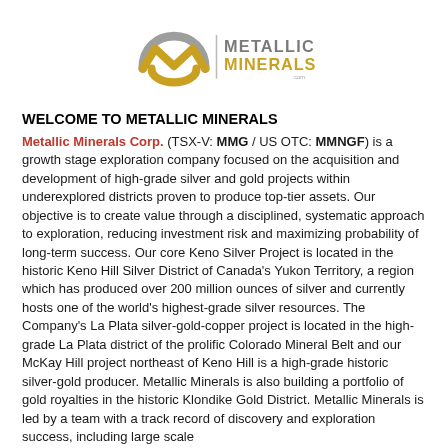[Figure (logo): Metallic Minerals Corp. logo — stylized M/W shape in gold and grey, vertical bar separator, 'METALLIC MINERALS' in grey/gold text, '.com' below]
WELCOME TO METALLIC MINERALS
Metallic Minerals Corp. (TSX-V: MMG / US OTC: MMNGF) is a growth stage exploration company focused on the acquisition and development of high-grade silver and gold projects within underexplored districts proven to produce top-tier assets. Our objective is to create value through a disciplined, systematic approach to exploration, reducing investment risk and maximizing probability of long-term success. Our core Keno Silver Project is located in the historic Keno Hill Silver District of Canada's Yukon Territory, a region which has produced over 200 million ounces of silver and currently hosts one of the world's highest-grade silver resources. The Company's La Plata silver-gold-copper project is located in the high-grade La Plata district of the prolific Colorado Mineral Belt and our McKay Hill project northeast of Keno Hill is a high-grade historic silver-gold producer. Metallic Minerals is also building a portfolio of gold royalties in the historic Klondike Gold District. Metallic Minerals is led by a team with a track record of discovery and exploration success, including large scale